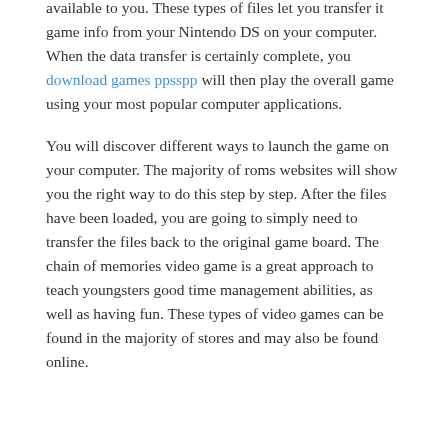through the options or perhaps look for the sport you would like to enjoy. Some data are then simply made available to you. These types of files let you transfer it game info from your Nintendo DS on your computer. When the data transfer is certainly complete, you download games ppsspp will then play the overall game using your most popular computer applications.
You will discover different ways to launch the game on your computer. The majority of roms websites will show you the right way to do this step by step. After the files have been loaded, you are going to simply need to transfer the files back to the original game board. The chain of memories video game is a great approach to teach youngsters good time management abilities, as well as having fun. These types of video games can be found in the majority of stores and may also be found online.